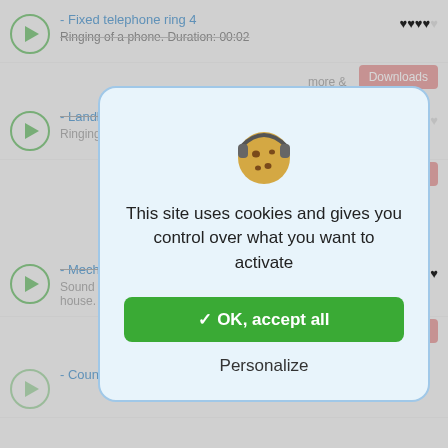- Fixed telephone ring 4
Ringing of a phone. Duration: 00:02
- Landline Ringtone
Ringing phone
[Figure (screenshot): Cookie consent modal dialog with cookie emoji wearing headphones, text 'This site uses cookies and gives you control over what you want to activate', a green OK accept all button, and a Personalize link]
This site uses cookies and gives you control over what you want to activate
✓ OK, accept all
Personalize
- Mechanical doorbell
Sound of a small mechanical doorbell at the entrance to the house. Duration: 00:01.
- Counter bell 3